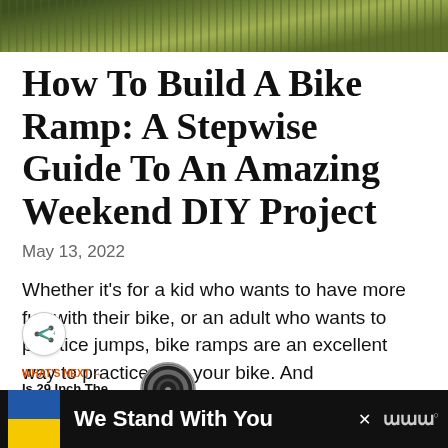[Figure (photo): Top portion of an outdoor photo showing green grass and foliage, cropped at the top of the page]
How To Build A Bike Ramp: A Stepwise Guide To An Amazing Weekend DIY Project
May 13, 2022
Whether it's for a kid who wants to have more fun with their bike, or an adult who wants to practice jumps, bike ramps are an excellent way to practice with your bike. And
[Figure (photo): Partial view of a next article thumbnail showing a bicycle tire, with 'WHAT'S NEXT' label and text 'Is 29 Inch The Same as...']
[Figure (photo): Bottom strip of a photo visible at the lower portion of the page]
[Figure (infographic): Advertisement bar at the bottom showing Ukraine flag colors (blue and yellow) with text 'We Stand With You' on black background, with close button and media logo]